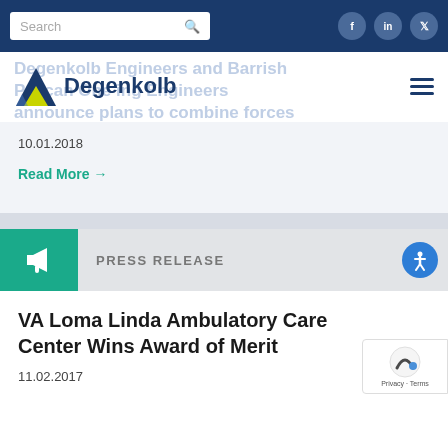Search | Social media icons (Facebook, LinkedIn, Twitter)
[Figure (logo): Degenkolb Engineers logo with triangle icon]
Degenkolb Engineers and Barrish Pelican One Engineers announce plans to combine forces
10.01.2018
Read More →
PRESS RELEASE
VA Loma Linda Ambulatory Care Center Wins Award of Merit
11.02.2017